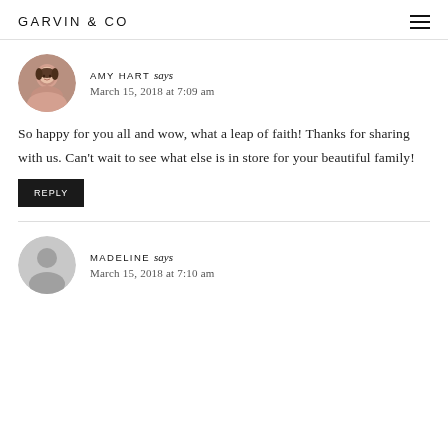GARVIN & CO
AMY HART says
March 15, 2018 at 7:09 am
So happy for you all and wow, what a leap of faith! Thanks for sharing with us. Can't wait to see what else is in store for your beautiful family!
REPLY
MADELINE says
March 15, 2018 at 7:10 am